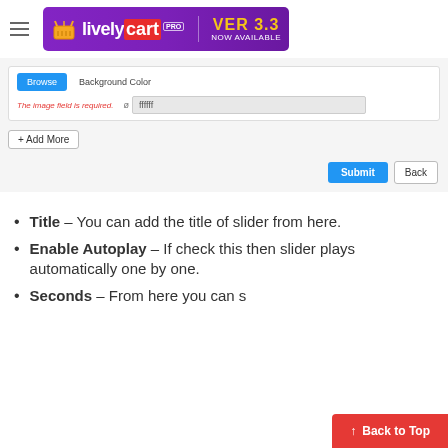[Figure (screenshot): LivelyCart Pro VER 3.3 NOW AVAILABLE banner logo with hamburger menu icon]
[Figure (screenshot): UI screenshot showing Background Color field with blue button, error text 'The image field is required.', hash input with ffffff value, Add More button, and Submit/Back buttons]
Title – You can add the title of slider from here.
Enable Autoplay – If check this then slider plays automatically one by one.
Seconds – From here you can s…